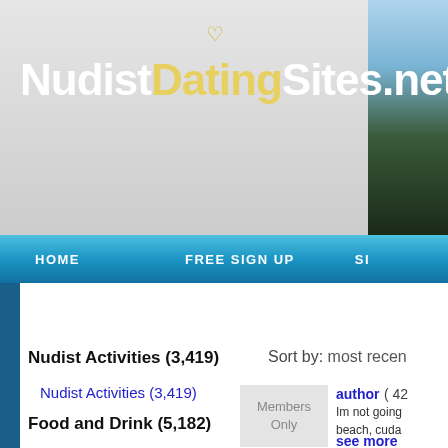NudistDatingSites.net
HOME   FREE SIGN UP   SI
Nudist Activities (3,419)   Sort by: most recen
Nudist Activities (3,419)
Food and Drink (5,182)
Arts and Culture (681)
Out and About (2,113)
Members Only
author ( 42
Im not going beach, cudo
see more